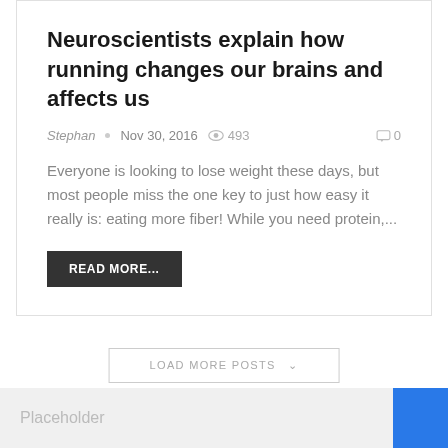Neuroscientists explain how running changes our brains and affects us
Stephan  •  Nov 30, 2016  👁 493  💬 0
Everyone is looking to lose weight these days, but most people miss the one key to just how easy it really is: eating more fiber! While you need protein,...
READ MORE...
LOAD MORE POSTS ∨
Placeholder